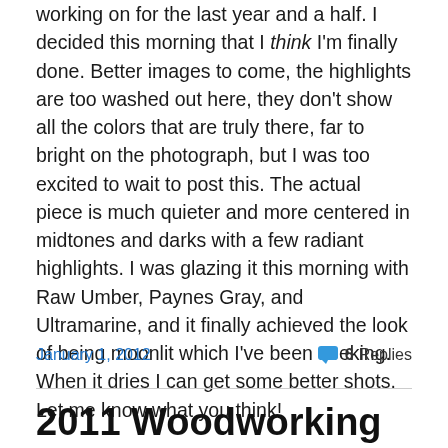working on for the last year and a half. I decided this morning that I think I'm finally done. Better images to come, the highlights are too washed out here, they don't show all the colors that are truly there, far to bright on the photograph, but I was too excited to wait to post this. The actual piece is much quieter and more centered in midtones and darks with a few radiant highlights. I was glazing it this morning with Raw Umber, Paynes Gray, and Ultramarine, and it finally achieved the look of being moonlit which I've been seeking. When it dries I can get some better shots. Let me know what you think!
January 1, 2012   6 Replies
2011 Woodworking Projects